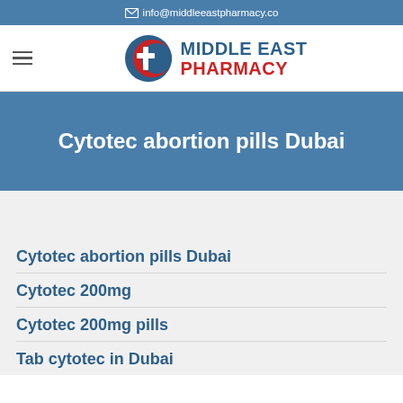info@middleeastpharmacy.co
[Figure (logo): Middle East Pharmacy logo with crescent and cross symbol]
Cytotec abortion pills Dubai
Cytotec abortion pills Dubai
Cytotec 200mg
Cytotec 200mg pills
Tab cytotec in Dubai